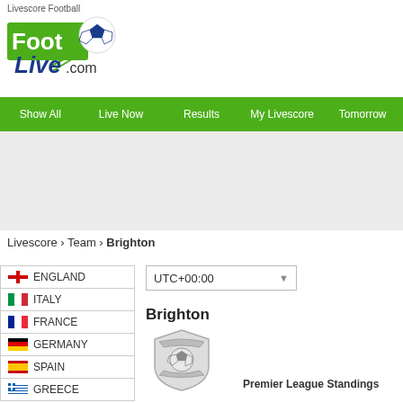Livescore Football
[Figure (logo): FootLive.com logo with soccer ball and green swoosh]
Show All | Live Now | Results | My Livescore | Tomorrow
Livescore › Team › Brighton
| Flag | Country |
| --- | --- |
| England flag | ENGLAND |
| Italy flag | ITALY |
| France flag | FRANCE |
| Germany flag | GERMANY |
| Spain flag | SPAIN |
| Greece flag | GREECE |
UTC+00:00
Brighton
[Figure (logo): Brighton football club crest/shield in gray and white]
Premier League Standings